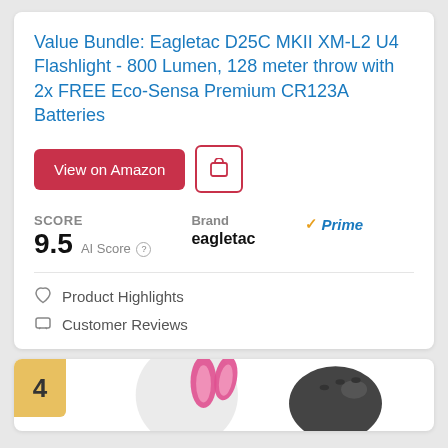Value Bundle: Eagletac D25C MKII XM-L2 U4 Flashlight - 800 Lumen, 128 meter throw with 2x FREE Eco-Sensa Premium CR123A Batteries
View on Amazon
SCORE 9.5 AI Score   Brand eagletac  Prime
Product Highlights
Customer Reviews
[Figure (illustration): Bottom card partially visible showing number badge '4' and partial product image with pink bunny ears and dark helmet]